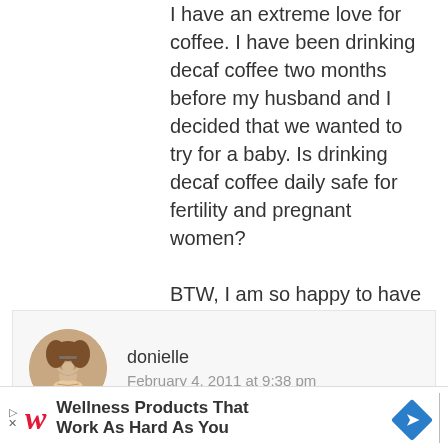I have an extreme love for coffee. I have been drinking decaf coffee two months before my husband and I decided that we wanted to try for a baby. Is drinking decaf coffee daily safe for fertility and pregnant women?

BTW, I am so happy to have found your website. Its like an answer to my prayers 🙂
[Figure (photo): Circular avatar photo of a woman with curly hair and glasses]
donielle
February 4, 2011 at 9:38 pm
@Jessica, Glad you found me! You know –
[Figure (other): Walgreens advertisement banner: Wellness Products That Work As Hard As You]